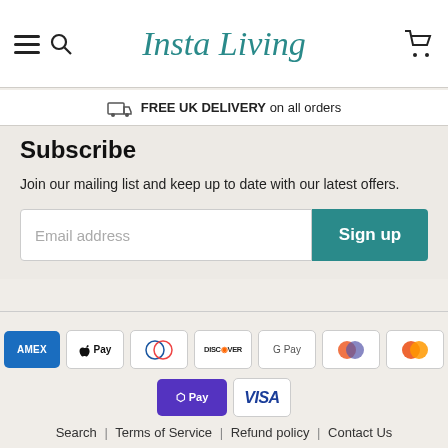Insta Living
FREE UK DELIVERY on all orders
Subscribe
Join our mailing list and keep up to date with our latest offers.
[Figure (screenshot): Email address input field with Sign up button]
[Figure (infographic): Payment method logos: American Express, Apple Pay, Diners Club, Discover, Google Pay, Maestro, Mastercard, Shop Pay, Visa]
Search | Terms of Service | Refund policy | Contact Us